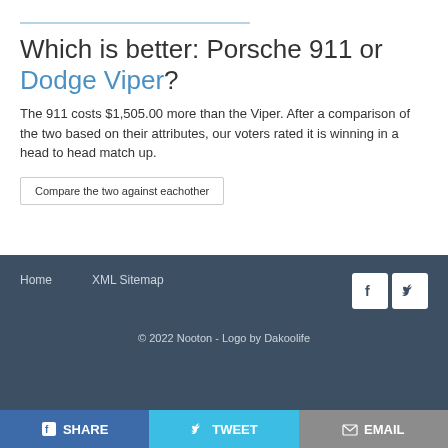Which is better: Porsche 911 or Dodge Viper?
The 911 costs $1,505.00 more than the Viper. After a comparison of the two based on their attributes, our voters rated it is winning in a head to head match up.
Compare the two against eachother
Home   XML Sitemap
© 2022 Nooton - Logo by Dakoolife
SHARE   TWEET   EMAIL